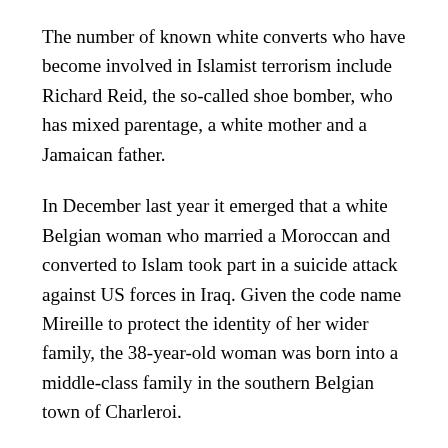The number of known white converts who have become involved in Islamist terrorism include Richard Reid, the so-called shoe bomber, who has mixed parentage, a white mother and a Jamaican father.
In December last year it emerged that a white Belgian woman who married a Moroccan and converted to Islam took part in a suicide attack against US forces in Iraq. Given the code name Mireille to protect the identity of her wider family, the 38-year-old woman was born into a middle-class family in the southern Belgian town of Charleroi.
John Walker, an American national who converted to Islam, joined the Taliban in 2001 and was later captured by American forces and charged with terrorist crimes. He was sentenced to 20 years in prison.
Whitehall officials confirmed there was a problem of